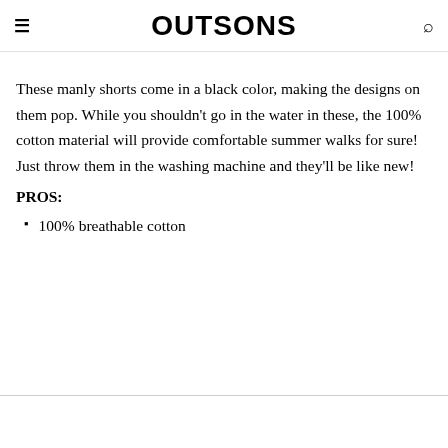OUTSONS
These manly shorts come in a black color, making the designs on them pop. While you shouldn't go in the water in these, the 100% cotton material will provide comfortable summer walks for sure! Just throw them in the washing machine and they'll be like new!
PROS:
100% breathable cotton